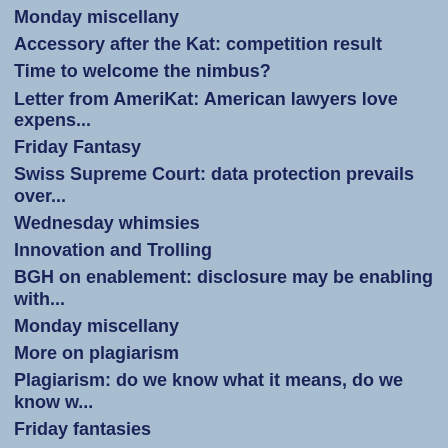Monday miscellany
Accessory after the Kat: competition result
Time to welcome the nimbus?
Letter from AmeriKat: American lawyers love expens...
Friday Fantasy
Swiss Supreme Court: data protection prevails over...
Wednesday whimsies
Innovation and Trolling
BGH on enablement: disclosure may be enabling with...
Monday miscellany
More on plagiarism
Plagiarism: do we know what it means, do we know w...
Friday fantasies
Time for that IP Tsar?
Catbert and Wally: an IP analysis